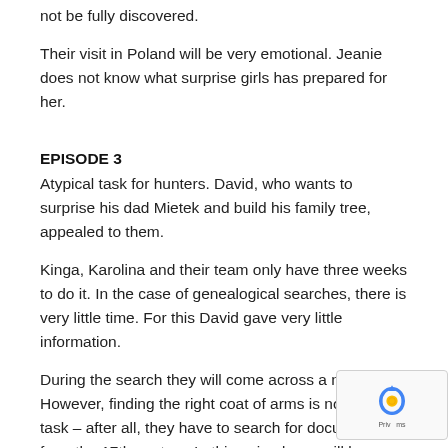not be fully discovered.
Their visit in Poland will be very emotional. Jeanie does not know what surprise girls has prepared for her.
EPISODE 3
Atypical task for hunters. David, who wants to surprise his dad Mietek and build his family tree, appealed to them.
Kinga, Karolina and their team only have three weeks to do it. In the case of genealogical searches, there is very little time. For this David gave very little information.
During the search they will come across a noble trail. However, finding the right coat of arms is not an easy task – after all, they have to search for documents from the 17th century. In this episode we will learn more about polish noble families. The will set out in Poland in search of living relatives. They will deal with old documents and bad weather. During the search they